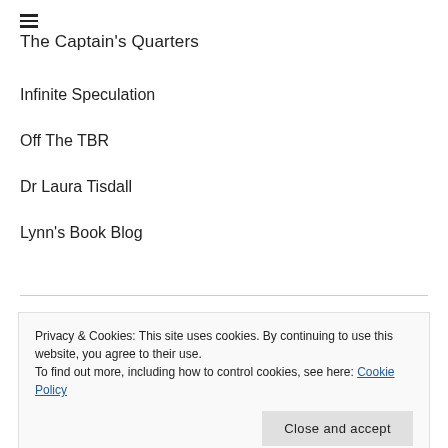The Captain's Quarters
Infinite Speculation
Off The TBR
Dr Laura Tisdall
Lynn's Book Blog
Privacy & Cookies: This site uses cookies. By continuing to use this website, you agree to their use.
To find out more, including how to control cookies, see here: Cookie Policy
Close and accept